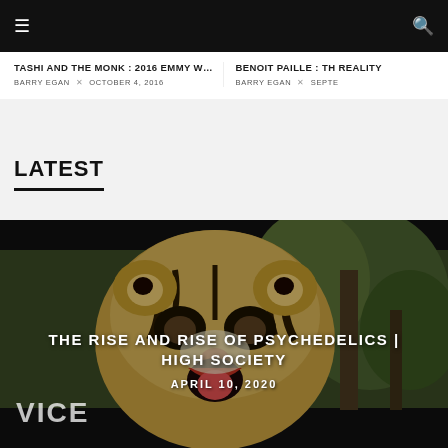Navigation bar with menu and search icons
TASHI AND THE MONK : 2016 EMMY WINNER
BARRY EGAN × OCTOBER 4, 2016
BENOIT PAILLE : THE REALITY
BARRY EGAN × SEPTEMBER
LATEST
[Figure (photo): Video thumbnail showing a person wearing a tiger mask, with VICE logo overlay, for 'The Rise and Rise of Psychedelics | High Society' dated April 10, 2020]
THE RISE AND RISE OF PSYCHEDELICS | HIGH SOCIETY
APRIL 10, 2020